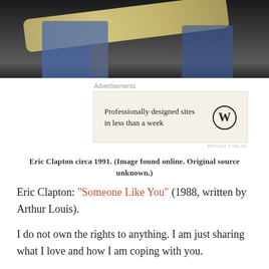[Figure (photo): Cropped photo of Eric Clapton playing guitar on stage, wearing a blue shirt, dark background, guitar has maple neck]
[Figure (other): WordPress advertisement: 'Professionally designed sites in less than a week' with WordPress logo]
Eric Clapton circa 1991. (Image found online. Original source unknown.)
Eric Clapton: “Someone Like You” (1988, written by Arthur Louis).
I do not own the rights to anything. I am just sharing what I love and how I am coping with you.
St...